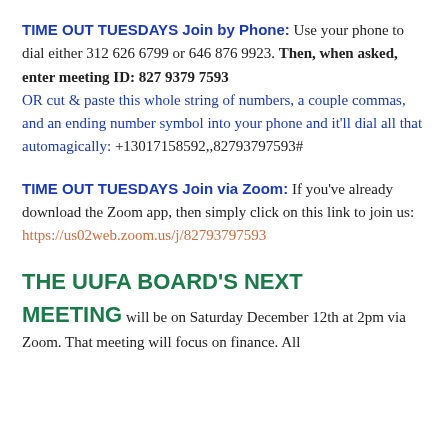TIME OUT TUESDAYS Join by Phone: Use your phone to dial either 312 626 6799  or  646 876 9923.  Then, when asked, enter meeting ID: 827 9379 7593  OR cut & paste this whole string of numbers, a couple commas, and an ending number symbol into your phone and it'll dial all that automagically: +13017158592,,82793797593#
TIME OUT TUESDAYS Join via Zoom: If you've already download the Zoom app, then simply click on this link to join us: https://us02web.zoom.us/j/82793797593
THE UUFA BOARD'S NEXT MEETING will be on Saturday December 12th at 2pm via Zoom. That meeting will focus on finance. All